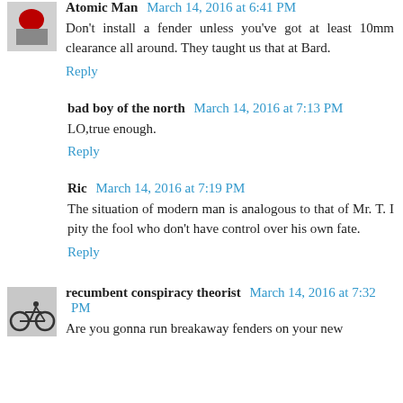[Figure (photo): Small avatar image, top left, partial view - appears to be a red/gray object]
Atomic Man March 14, 2016 at 6:41 PM
Don't install a fender unless you've got at least 10mm clearance all around. They taught us that at Bard.
Reply
bad boy of the north March 14, 2016 at 7:13 PM
LO,true enough.
Reply
Ric March 14, 2016 at 7:19 PM
The situation of modern man is analogous to that of Mr. T. I pity the fool who don't have control over his own fate.
Reply
[Figure (photo): Small avatar image of a recumbent bicycle icon]
recumbent conspiracy theorist March 14, 2016 at 7:32 PM
Are you gonna run breakaway fenders on your new